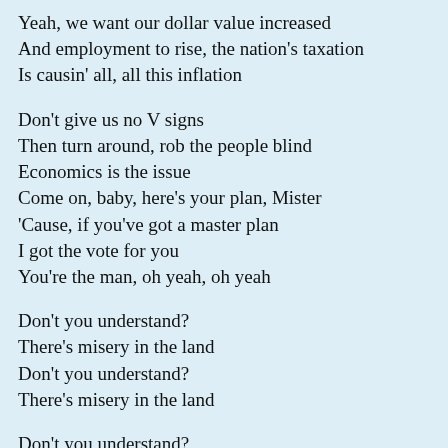Yeah, we want our dollar value increased
And employment to rise, the nation's taxation
Is causin' all, all this inflation
Don't give us no V signs
Then turn around, rob the people blind
Economics is the issue
Come on, baby, here's your plan, Mister
'Cause, if you've got a master plan
I got the vote for you
You're the man, oh yeah, oh yeah
Don't you understand?
There's misery in the land
Don't you understand?
There's misery in the land
Don't you understand?
There's misery in the land
Don't you understand?
There's misery in the land
Don't you understand?
There's misery in the land